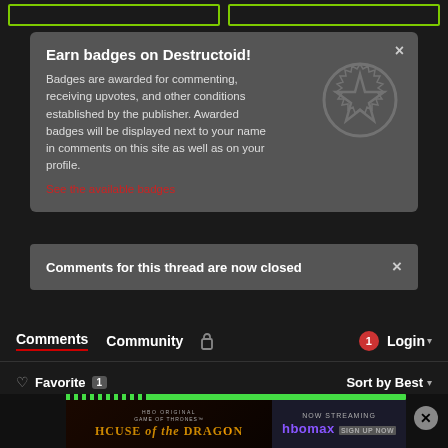[Figure (screenshot): Top navigation bar with two green-outlined boxes]
Earn badges on Destructoid!
Badges are awarded for commenting, receiving upvotes, and other conditions established by the publisher. Awarded badges will be displayed next to your name in comments on this site as well as on your profile.
See the available badges
Comments for this thread are now closed
Comments  Community  🔒  1  Login ▾
♡ Favorite  1  Sort by Best ▾
[Figure (screenshot): HBO House of the Dragon advertisement banner]